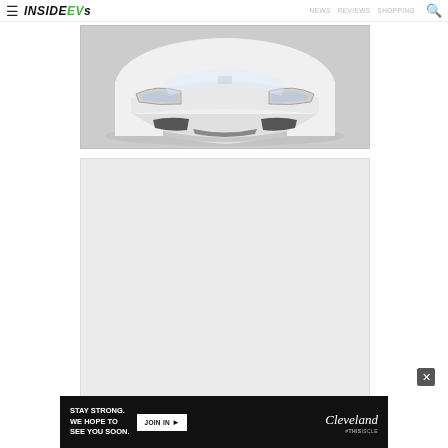InsideEVs — NEWS REVIEWS SHOPPING (search icon)
[Figure (photo): Front view of a white Tesla Model 3 against a grey studio background]
[Figure (other): Blank light grey advertisement placeholder block]
[Figure (other): Banner advertisement: STAY STRONG. WE HOPE TO SEE YOU SOON. JOIN IN arrow. Cleveland script logo with hashtag #ThisIsCLE]